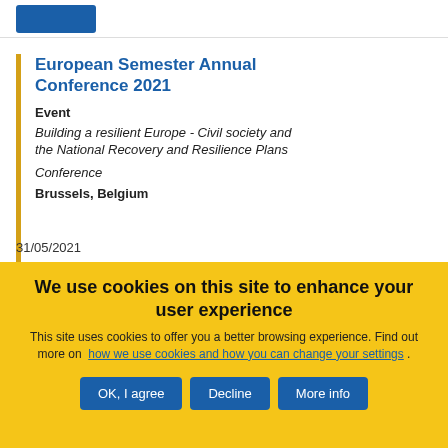[Figure (logo): EU/European Commission logo placeholder in blue]
European Semester Annual Conference 2021
Event
Building a resilient Europe - Civil society and the National Recovery and Resilience Plans
Conference
Brussels, Belgium
31/05/2021
We use cookies on this site to enhance your user experience
This site uses cookies to offer you a better browsing experience. Find out more on how we use cookies and how you can change your settings .
OK, I agree
Decline
More info